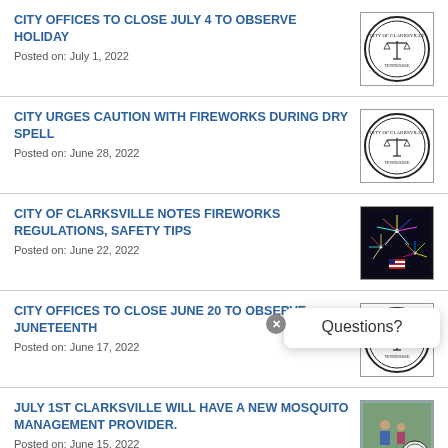CITY OFFICES TO CLOSE JULY 4 TO OBSERVE HOLIDAY
Posted on: July 1, 2022
[Figure (logo): Clarksville city seal]
CITY URGES CAUTION WITH FIREWORKS DURING DRY SPELL
Posted on: June 28, 2022
[Figure (logo): Clarksville city seal]
CITY OF CLARKSVILLE NOTES FIREWORKS REGULATIONS, SAFETY TIPS
Posted on: June 22, 2022
[Figure (photo): Fireworks display photo]
CITY OFFICES TO CLOSE JUNE 20 TO OBSERVE JUNETEENTH
Posted on: June 17, 2022
[Figure (logo): Clarksville city seal (partially obscured by popup)]
JULY 1ST CLARKSVILLE WILL HAVE A NEW MOSQUITO MANAGEMENT PROVIDER.
Posted on: June 15, 2022
[Figure (photo): People outdoors with Clarksville city seal overlay]